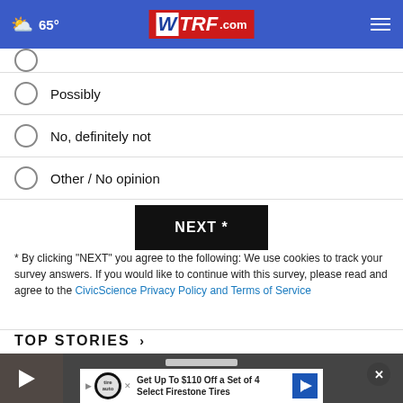65° WTRF.com
Possibly
No, definitely not
Other / No opinion
NEXT *
* By clicking "NEXT" you agree to the following: We use cookies to track your survey answers. If you would like to continue with this survey, please read and agree to the CivicScience Privacy Policy and Terms of Service
TOP STORIES ›
[Figure (screenshot): Video thumbnail with play button, close button, and an advertisement banner at the bottom reading 'Get Up To $110 Off a Set of 4 Select Firestone Tires']